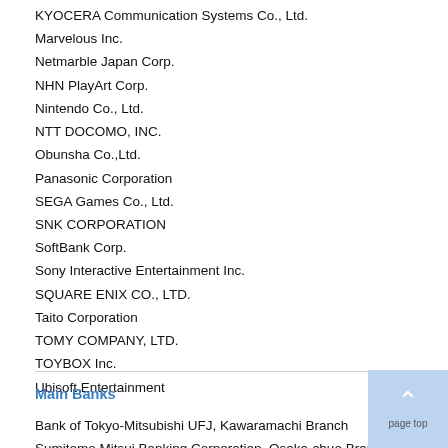KYOCERA Communication Systems Co., Ltd.
Marvelous Inc.
Netmarble Japan Corp.
NHN PlayArt Corp.
Nintendo Co., Ltd.
NTT DOCOMO, INC.
Obunsha Co.,Ltd.
Panasonic Corporation
SEGA Games Co., Ltd.
SNK CORPORATION
SoftBank Corp.
Sony Interactive Entertainment Inc.
SQUARE ENIX CO., LTD.
Taito Corporation
TOMY COMPANY, LTD.
TOYBOX Inc.
Ubisoft Entertainment
(Alphabetical order)
Main Banks
Bank of Tokyo-Mitsubishi UFJ, Kawaramachi Branch
Sumitomo Mitsui Banking Corporation, Osaka-chuo Branch
Mizuho Bank, Umeda Branch